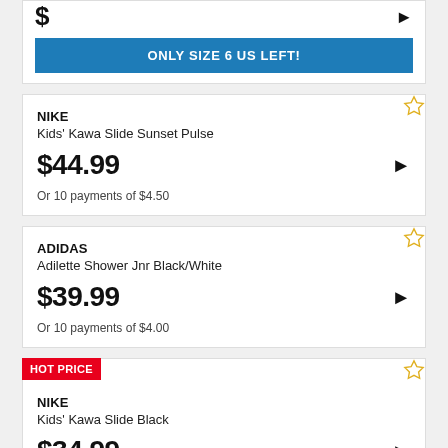ONLY SIZE 6 US LEFT!
NIKE
Kids' Kawa Slide Sunset Pulse
$44.99
Or 10 payments of $4.50
ADIDAS
Adilette Shower Jnr Black/White
$39.99
Or 10 payments of $4.00
HOT PRICE
NIKE
Kids' Kawa Slide Black
$34.99
Or 10 payments of $3.50